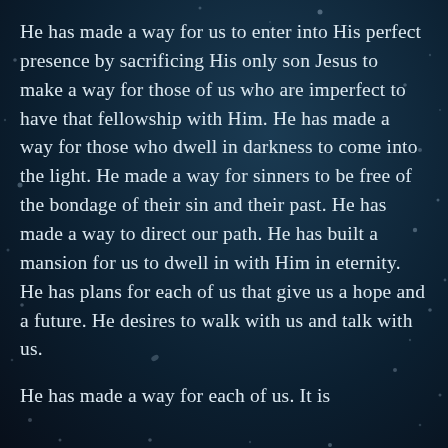He has made a way for us to enter into His perfect presence by sacrificing His only son Jesus to make a way for those of us who are imperfect to have that fellowship with Him. He has made a way for those who dwell in darkness to come into the light. He made a way for sinners to be free of the bondage of their sin and their past. He has made a way to direct our path. He has built a mansion for us to dwell in with Him in eternity. He has plans for each of us that give us a hope and a future. He desires to walk with us and talk with us.
He has made a way for each of us. It is